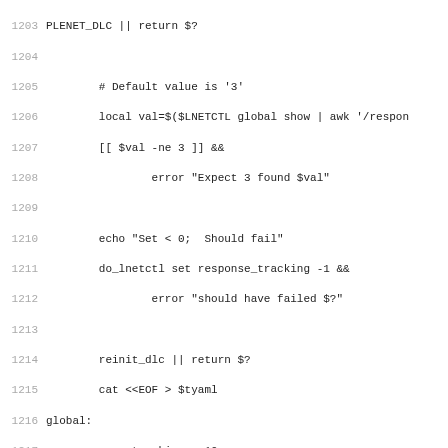[Figure (screenshot): Source code listing (shell script) with line numbers 1203–1235, showing test code for response_tracking configuration using lnetctl commands, cat heredocs, and for loop validation.]